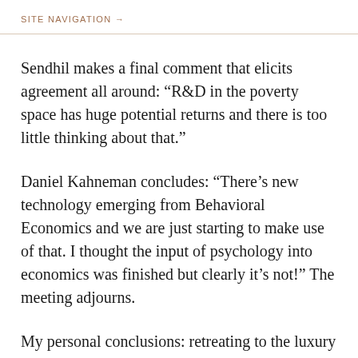SITE NAVIGATION →
Sendhil makes a final comment that elicits agreement all around: “R&D in the poverty space has huge potential returns and there is too little thinking about that.”
Daniel Kahneman concludes: “There’s new technology emerging from Behavioral Economics and we are just starting to make use of that. I thought the input of psychology into economics was finished but clearly it’s not!” The meeting adjourns.
My personal conclusions: retreating to the luxury of Sonoma to discuss economic theory in mid-2008 conveys images of Fiddling while Rome Burns. Do the architects of Microsoft, Amazon, Google, PayPal, and